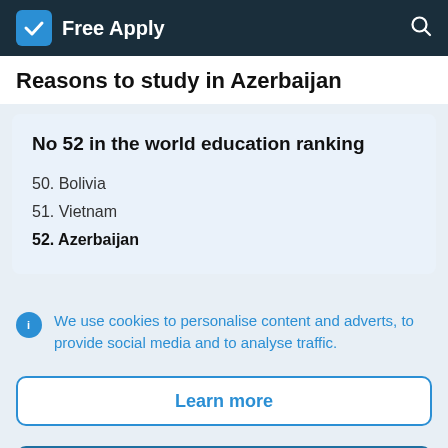Free Apply
Reasons to study in Azerbaijan
No 52 in the world education ranking
50. Bolivia
51. Vietnam
52. Azerbaijan
We use cookies to personalise content and adverts, to provide social media and to analyse traffic.
Learn more
Accept